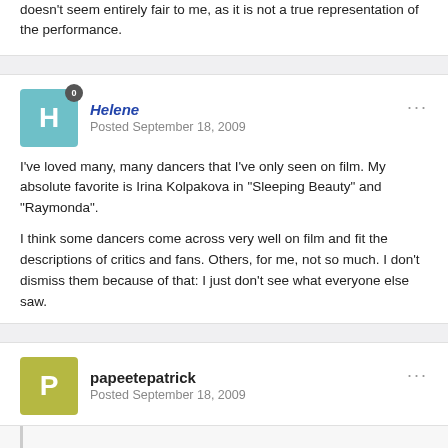doesn't seem entirely fair to me, as it is not a true representation of the performance.
I've loved many, many dancers that I've only seen on film. My absolute favorite is Irina Kolpakova in "Sleeping Beauty" and "Raymonda".

I think some dancers come across very well on film and fit the descriptions of critics and fans. Others, for me, not so much. I don't dismiss them because of that: I just don't see what everyone else saw.
papeetepatrick
Posted September 18, 2009